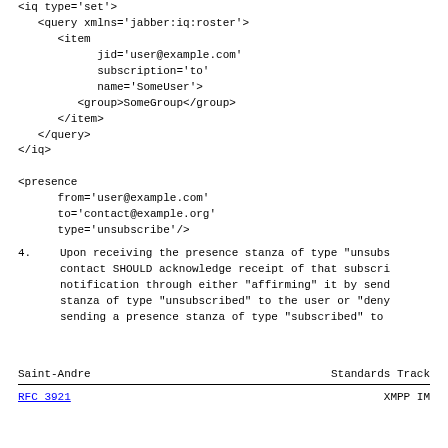<iq type='set'>
   <query xmlns='jabber:iq:roster'>
      <item
            jid='user@example.com'
            subscription='to'
            name='SomeUser'>
         <group>SomeGroup</group>
      </item>
   </query>
</iq>

<presence
      from='user@example.com'
      to='contact@example.org'
      type='unsubscribe'/>
4.  Upon receiving the presence stanza of type "unsubscribe", the contact SHOULD acknowledge receipt of that subscription notification through either "affirming" it by sending a presence stanza of type "unsubscribed" to the user or "denying" it by sending a presence stanza of type "subscribed" to
Saint-Andre                     Standards Track

RFC 3921                        XMPP IM